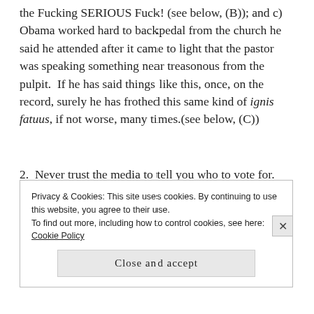the Fucking SERIOUS Fuck! (see below, (B)); and c) Obama worked hard to backpedal from the church he said he attended after it came to light that the pastor was speaking something near treasonous from the pulpit.  If he has said things like this, once, on the record, surely he has frothed this same kind of ignis fatuus, if not worse, many times.(see below, (C))
2.  Never trust the media to tell you who to vote for.  The media wants you to do their bidding, not necessarily what's best for you.  Do your own research on issues important to you, find out which
Privacy & Cookies: This site uses cookies. By continuing to use this website, you agree to their use. To find out more, including how to control cookies, see here: Cookie Policy
Close and accept